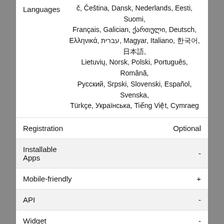| Field | Value |
| --- | --- |
| Languages | č, Čeština, Dansk, Nederlands, Eesti, Suomi, Français, Galician, ქართული, Deutsch, Ελληνικά, עברית, Magyar, Italiano, 한국어, 日本語, Lietuvių, Norsk, Polski, Português, Română, Русский, Srpski, Slovenski, Español, Svenska, Türkçe, Українська, Tiếng Việt, Cymraeg |
| Registration | Optional |
| Installable Apps | - |
| Mobile-friendly | + |
| API | - |
| Widget | - |
| Publisher | Budnix |
| Date added/updated | 06.26.2012 |
REPORT A PROBLEM